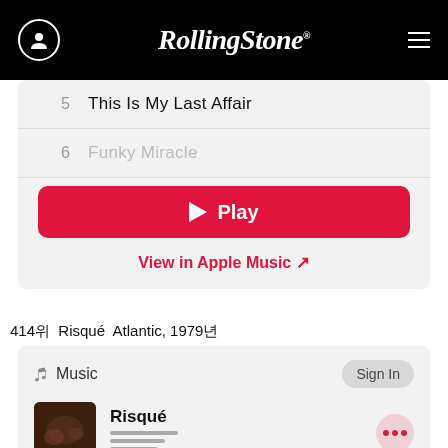Rolling Stone
5  This Is My Last Affair
6  Funky Miracle
Play
View in Apple Music ↗
414위  Risqué Atlantic, 1979년
Music  Sign In
Risqué
1  Good Times